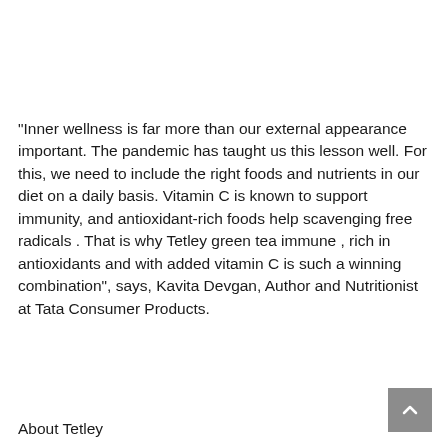"Inner wellness is far more than our external appearance important. The pandemic has taught us this lesson well. For this, we need to include the right foods and nutrients in our diet on a daily basis. Vitamin C is known to support immunity, and antioxidant-rich foods help scavenging free radicals . That is why Tetley green tea immune , rich in antioxidants and with added vitamin C is such a winning combination", says, Kavita Devgan, Author and Nutritionist at Tata Consumer Products.
About Tetley